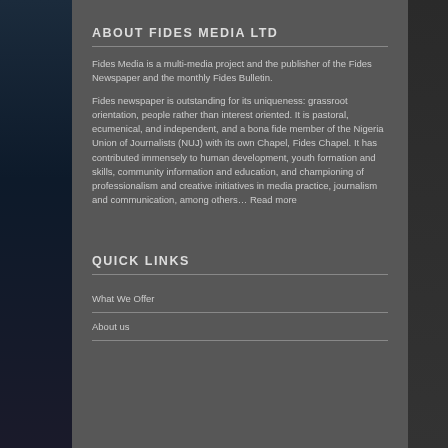ABOUT FIDES MEDIA LTD
Fides Media is a multi-media project and the publisher of the Fides Newspaper and the monthly Fides Bulletin.
Fides newspaper is outstanding for its uniqueness: grassroot orientation, people rather than interest oriented. It is pastoral, ecumenical, and independent, and a bona fide member of the Nigeria Union of Journalists (NUJ) with its own Chapel, Fides Chapel. It has contributed immensely to human development, youth formation and skills, community information and education, and championing of professionalism and creative initiatives in media practice, journalism and communication, among others… Read more
QUICK LINKS
What We Offer
About us